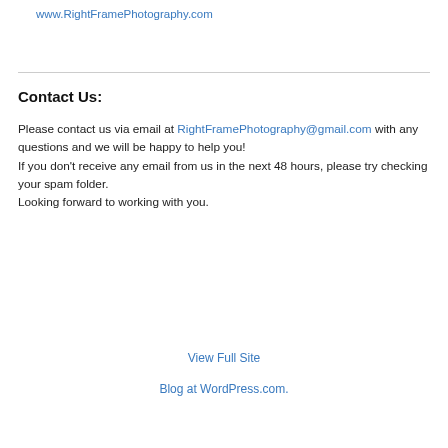www.RightFramePhotography.com
Contact Us:
Please contact us via email at RightFramePhotography@gmail.com with any questions and we will be happy to help you! If you don't receive any email from us in the next 48 hours, please try checking your spam folder. Looking forward to working with you.
View Full Site
Blog at WordPress.com.